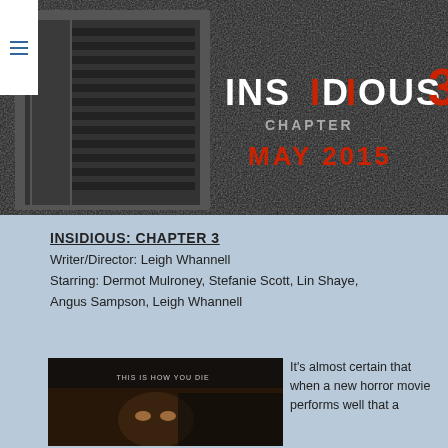[Figure (photo): Movie poster for Insidious: Chapter 3 showing a dark vent on the left half and the movie title 'INSIDIOUS CHAPTER 3 MAY 2015' on the right half against a dark textured background]
INSIDIOUS: CHAPTER 3
Writer/Director: Leigh Whannell
Starring: Dermot Mulroney, Stefanie Scott, Lin Shaye, Angus Sampson, Leigh Whannell
[Figure (photo): Dark horror movie still with a woman's face visible in dim lighting, text overlay reads 'THIS IS HOW YOU DIE']
It's almost certain that when a new horror movie performs well that a